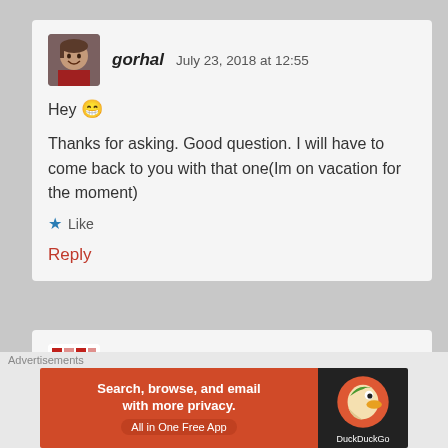[Figure (photo): Avatar photo of user gorhal — person smiling/laughing]
gorhal   July 23, 2018 at 12:55
Hey 😁
Thanks for asking. Good question. I will have to come back to you with that one(Im on vacation for the moment)
★ Like
Reply
[Figure (logo): Marcel Gruber avatar — red geometric pattern logo]
Marcel Gruber   August 21, 2018 at 23:23
Advertisements
[Figure (screenshot): DuckDuckGo ad banner: Search, browse, and email with more privacy. All in One Free App]